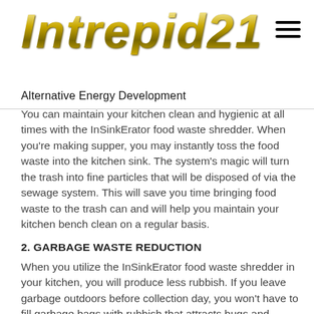[Figure (logo): Intrepid21 logo in gold italic stylized font]
Alternative Energy Development
You can maintain your kitchen clean and hygienic at all times with the InSinkErator food waste shredder. When you're making supper, you may instantly toss the food waste into the kitchen sink. The system's magic will turn the trash into fine particles that will be disposed of via the sewage system. This will save you time bringing food waste to the trash can and will help you maintain your kitchen bench clean on a regular basis.
2. GARBAGE WASTE REDUCTION
When you utilize the InSinkErator food waste shredder in your kitchen, you will produce less rubbish. If you leave garbage outdoors before collection day, you won't have to fill garbage bags with rubbish that attracts bugs and generates unpleasant aromas since the garbage will be picked up on time. All food waste is disposed of in a safe and continuous way promptly after it is created.
3. RENOVATIONS TO THE KITCHEN.